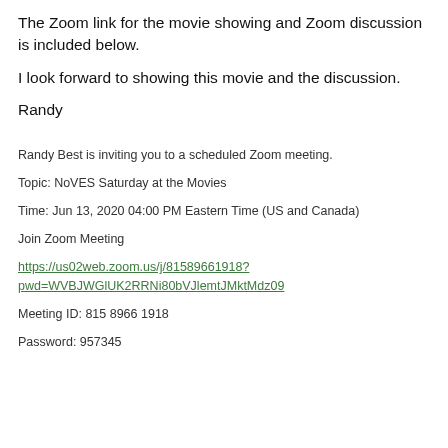The Zoom link for the movie showing and Zoom discussion is included below.
I look forward to showing this movie and the discussion.
Randy
Randy Best is inviting you to a scheduled Zoom meeting.
Topic: NoVES Saturday at the Movies
Time: Jun 13, 2020 04:00 PM Eastern Time (US and Canada)
Join Zoom Meeting
https://us02web.zoom.us/j/81589661918?pwd=WVBJWGlUK2RRNi80bVJlemtJMktMdz09
Meeting ID: 815 8966 1918
Password: 957345